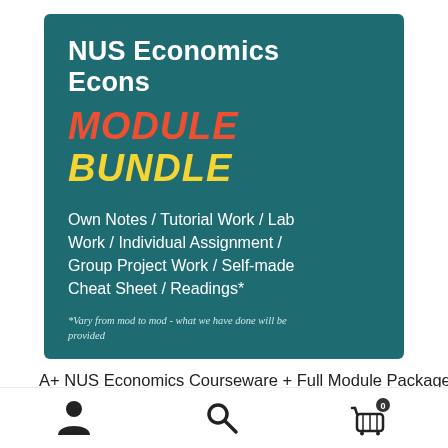[Figure (illustration): Dark teal card with NUS Economics Econs MODULE BUNDLE text and course content list]
A+ NUS Economics Courseware + Full Module Package
[Figure (infographic): Bottom navigation bar with user profile icon, search icon, and shopping cart icon with badge showing 0]